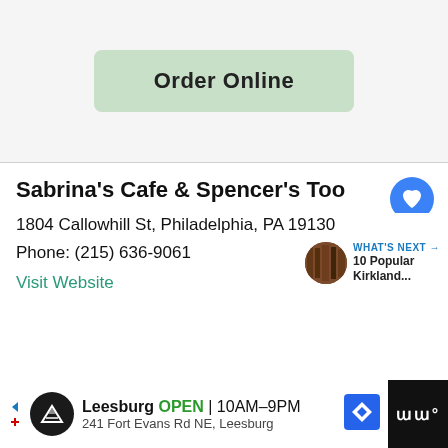[Figure (screenshot): Light gray empty area at the top of the page, likely a map or image placeholder]
Order Online
Sabrina's Cafe & Spencer's Too
1804 Callowhill St, Philadelphia, PA 19130
Phone: (215) 636-9061
Visit Website
WHAT'S NEXT → 10 Popular Kirkland...
[Figure (screenshot): Advertisement bar: Leesburg OPEN 10AM-9PM, 241 Fort Evans Rd NE, Leesburg]